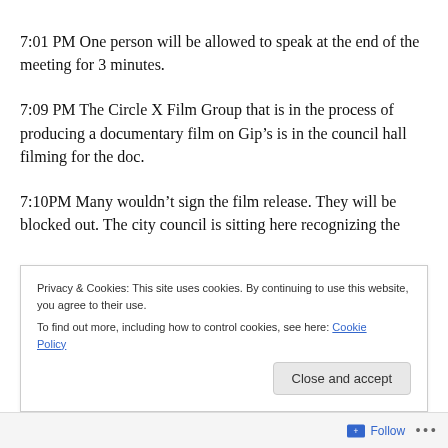7:01 PM One person will be allowed to speak at the end of the meeting for 3 minutes.
7:09 PM The Circle X Film Group that is in the process of producing a documentary film on Gip’s is in the council hall filming for the doc.
7:10PM Many wouldn’t sign the film release. They will be blocked out. The city council is sitting here recognizing the [continues below]
Privacy & Cookies: This site uses cookies. By continuing to use this website, you agree to their use.
To find out more, including how to control cookies, see here: Cookie Policy
Close and accept
Follow